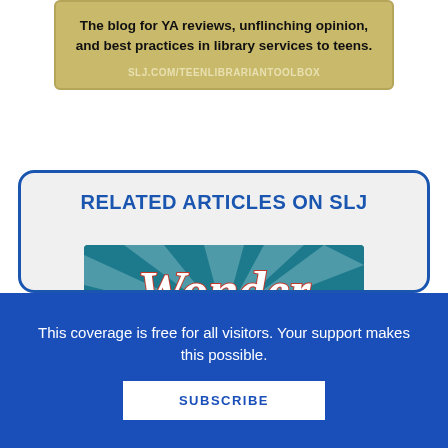The blog for YA reviews, unflinching opinion, and best practices in library services to teens.

SLJ.COM/TEENLIBRARIANTOOLBOX
RELATED ARTICLES ON SLJ
[Figure (illustration): Wonder Woman stylized title graphic with red and white script text on a teal background with light rays]
This coverage is free for all visitors. Your support makes this possible.
SUBSCRIBE